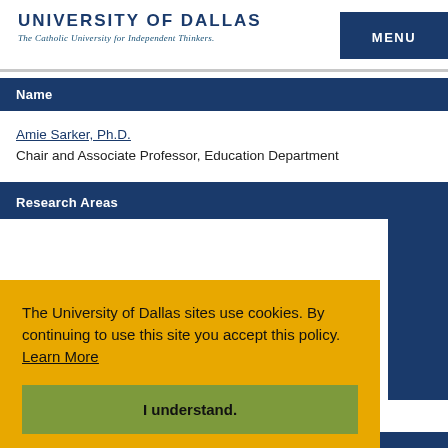UNIVERSITY OF DALLAS
The Catholic University for Independent Thinkers.
MENU
Name
Amie Sarker, Ph.D.
Chair and Associate Professor, Education Department
Research Areas
The University of Dallas sites use cookies. By continuing to use this site you accept this policy.  Learn More
I understand.